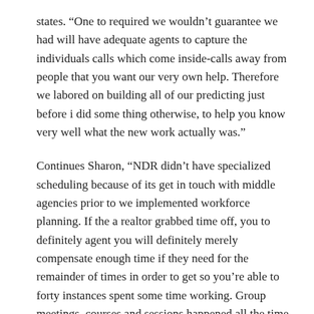states. “One to required we wouldn’t guarantee we had will have adequate agents to capture the individuals calls which come inside-calls away from people that you want our very own help. Therefore we labored on building all of our predicting just before i did some thing otherwise, to help you know very well what the new work actually was.”
Continues Sharon, “NDR didn’t have specialized scheduling because of its get in touch with middle agencies prior to we implemented workforce planning. If the a realtor grabbed time off, you to definitely agent you will definitely merely compensate enough time if they need for the remainder of times in order to get so you’re able to forty instances spent some time working. Group meetings, courses and sessions happened all the time. And you will, because the executives didn’t prediction, overtime are assigned according to ‘instinct become.’”